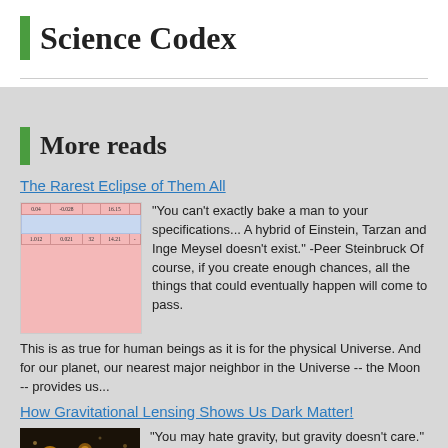Science Codex
More reads
The Rarest Eclipse of Them All
[Figure (table-as-image): Pink table with numerical data and a blue highlighted row, showing values like 0.04, -0.028, 16.15, 1.012, 0.021, 32, 14.21]
"You can't exactly bake a man to your specifications... A hybrid of Einstein, Tarzan and Inge Meysel doesn't exist." -Peer Steinbruck Of course, if you create enough chances, all the things that could eventually happen will come to pass. This is as true for human beings as it is for the physical Universe. And for our planet, our nearest major neighbor in the Universe -- the Moon -- provides us...
How Gravitational Lensing Shows Us Dark Matter!
[Figure (photo): Dark space/astronomy photo with golden/orange glowing spots resembling stars or galaxies]
"You may hate gravity, but gravity doesn't care." -